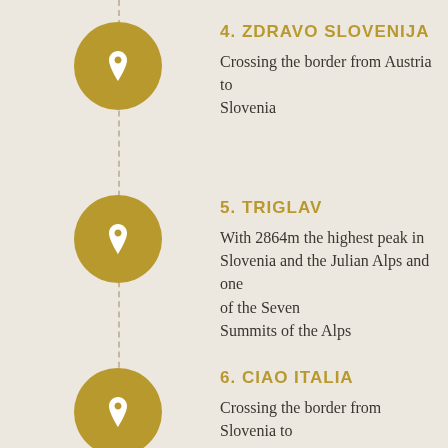[Figure (infographic): Vertical timeline with dashed line and gold location pin circles for travel destinations]
4. ZDRAVO SLOVENIJA
Crossing the border from Austria to Slovenia
5. TRIGLAV
With 2864m the highest peak in Slovenia and the Julian Alps and one of the Seven Summits of the Alps
6. CIAO ITALIA
Crossing the border from Slovenia to